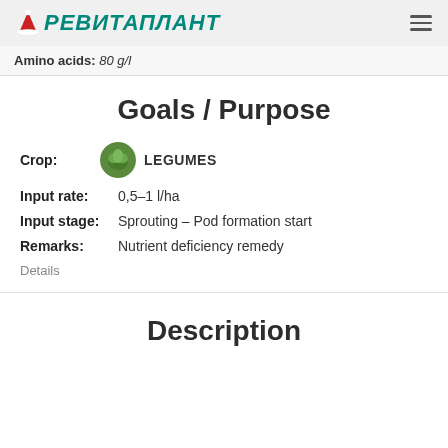РЕВИТАПЛАНТ
Amino acids: 80 g/l
Goals / Purpose
Crop: LEGUMES
Input rate: 0,5–1 l/ha
Input stage: Sprouting – Pod formation start
Remarks: Nutrient deficiency remedy
Details
Description